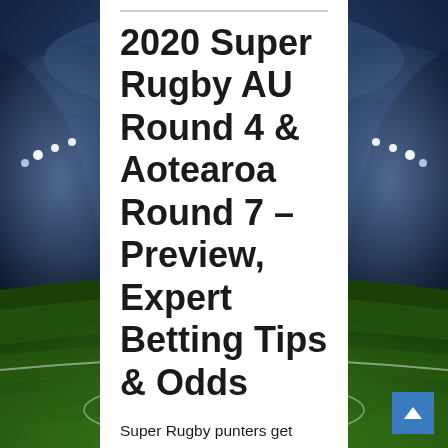[Figure (photo): Stadium photo background showing a rugby/football stadium with floodlights illuminated, dramatic blue sky with clouds, green pitch with white markings visible at bottom.]
2020 Super Rugby AU Round 4 & Aotearoa Round 7 – Preview, Expert Betting Tips & Odds
Super Rugby punters get another four games to bet on